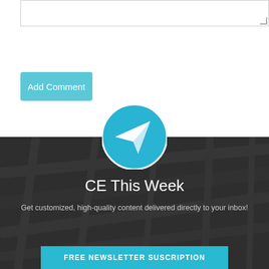[Figure (screenshot): Textarea input box with resize handle in bottom-right corner]
Add Comment
[Figure (illustration): Newsletter signup section with dark overlay background showing structural ceiling, Telegram-style paper plane icon, title 'CE This Week', descriptive text, and a cyan subscribe button]
CE This Week
Get customized, high-quality content delivered directly to your inbox!
FREE NEWSLETTER SUSCRIPTION